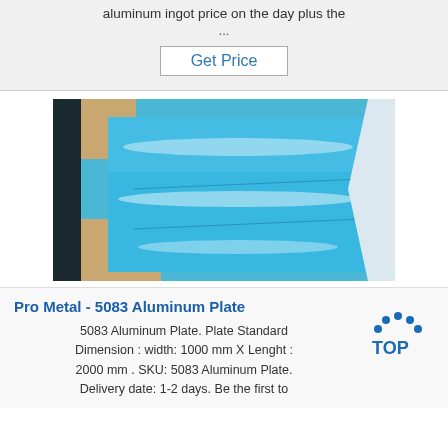aluminum ingot price on the day plus the
...
Get Price
[Figure (photo): Blue aluminum plate sheets stacked, viewed from above at an angle, showing reflective blue metallic surface with light reflections, placed on brown packaging material]
Pro Metal - 5083 Aluminum Plate
5083 Aluminum Plate. Plate Standard Dimension : width: 1000 mm X Lenght : 2000 mm . SKU: 5083 Aluminum Plate. Delivery date: 1-2 days. Be the first to